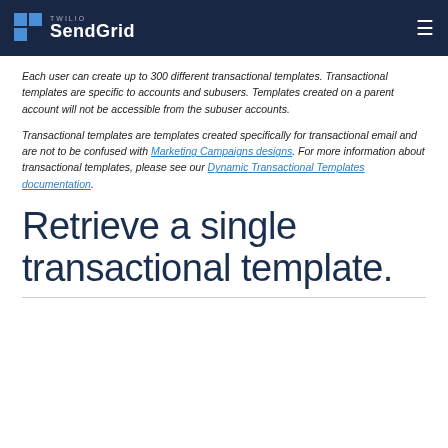Twilio SendGrid
Each user can create up to 300 different transactional templates. Transactional templates are specific to accounts and subusers. Templates created on a parent account will not be accessible from the subuser accounts.
Transactional templates are templates created specifically for transactional email and are not to be confused with Marketing Campaigns designs. For more information about transactional templates, please see our Dynamic Transactional Templates documentation.
Retrieve a single transactional template.